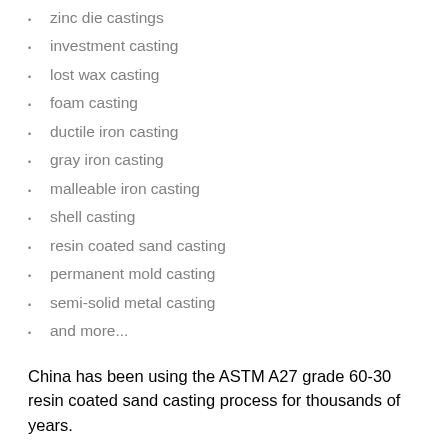zinc die castings
investment casting
lost wax casting
foam casting
ductile iron casting
gray iron casting
malleable iron casting
shell casting
resin coated sand casting
permanent mold casting
semi-solid metal casting
and more...
China has been using the ASTM A27 grade 60-30 resin coated sand casting process for thousands of years.